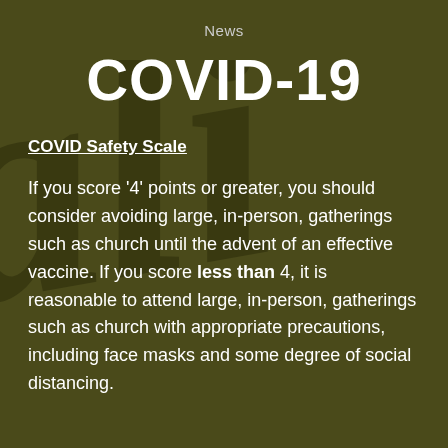News
COVID-19
COVID Safety Scale
If you score '4' points or greater, you should consider avoiding large, in-person, gatherings such as church until the advent of an effective vaccine. If you score less than 4, it is reasonable to attend large, in-person, gatherings such as church with appropriate precautions, including face masks and some degree of social distancing.